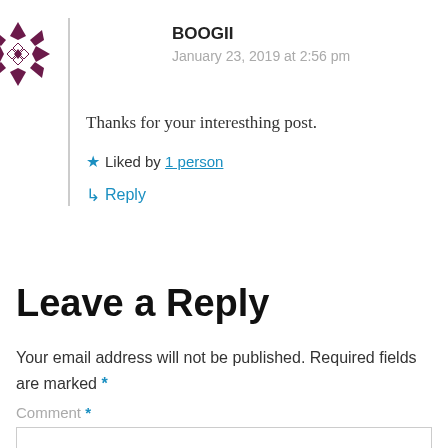[Figure (logo): Decorative flower/snowflake avatar logo in dark purple/maroon]
BOOGII
January 23, 2019 at 2:56 pm
Thanks for your interesthing post.
★ Liked by 1 person
↳ Reply
Leave a Reply
Your email address will not be published. Required fields are marked *
Comment *